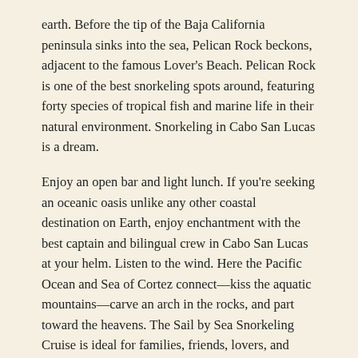earth. Before the tip of the Baja California peninsula sinks into the sea, Pelican Rock beckons, adjacent to the famous Lover's Beach. Pelican Rock is one of the best snorkeling spots around, featuring forty species of tropical fish and marine life in their natural environment. Snorkeling in Cabo San Lucas is a dream.
Enjoy an open bar and light lunch. If you're seeking an oceanic oasis unlike any other coastal destination on Earth, enjoy enchantment with the best captain and bilingual crew in Cabo San Lucas at your helm. Listen to the wind. Here the Pacific Ocean and Sea of Cortez connect—kiss the aquatic mountains—carve an arch in the rocks, and part toward the heavens. The Sail by Sea Snorkeling Cruise is ideal for families, friends, lovers, and everybody looking for an amazing memory for the ages. Breathless moments of natural beauty last an eternity. Previous sailing and snorkeling experience is not necessary. Snorkeling gear is provided.